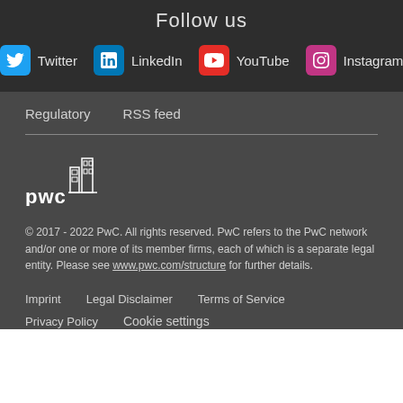Follow us
Twitter
LinkedIn
YouTube
Instagram
Regulatory
RSS feed
[Figure (logo): PwC logo - building icon with pwc text]
© 2017 - 2022 PwC. All rights reserved. PwC refers to the PwC network and/or one or more of its member firms, each of which is a separate legal entity. Please see www.pwc.com/structure for further details.
Imprint
Legal Disclaimer
Terms of Service
Privacy Policy
Cookie settings